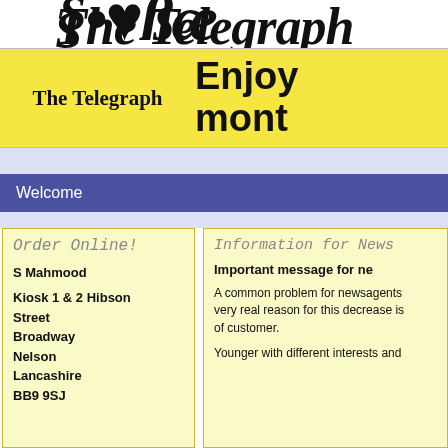The Telegraph (masthead logo)
[Figure (logo): The Telegraph newspaper masthead in decorative blackletter / gothic font, partially cropped at top]
[Figure (infographic): Yellow banner with 'The Telegraph' in blackletter font on the left, and large bold text 'Enjoy mont...' on the right (text cropped)]
Welcome
Order Online!
S Mahmood
Kiosk 1 & 2 Hibson Street
Broadway
Nelson
Lancashire
BB9 9SJ
Information for News...
Important message for ne...
A common problem for newsagents very real reason for this decrease is of customer.
Younger with different interests and